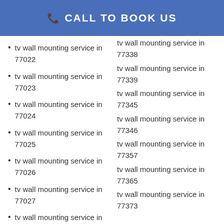CALL TO BOOK US
tv wall mounting service in 77022
tv wall mounting service in 77023
tv wall mounting service in 77024
tv wall mounting service in 77025
tv wall mounting service in 77026
tv wall mounting service in 77027
tv wall mounting service in 77028
tv wall mounting service in 77338
tv wall mounting service in 77339
tv wall mounting service in 77345
tv wall mounting service in 77346
tv wall mounting service in 77357
tv wall mounting service in 77365
tv wall mounting service in 77373